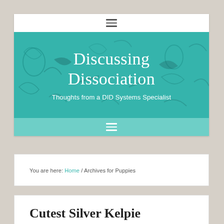[Figure (screenshot): Website header banner for 'Discussing Dissociation' blog with teal/turquoise background and abstract puzzle piece artwork. Contains site title and subtitle.]
Discussing Dissociation
Thoughts from a DID Systems Specialist
You are here: Home / Archives for Puppies
Cutest Silver Kelpie